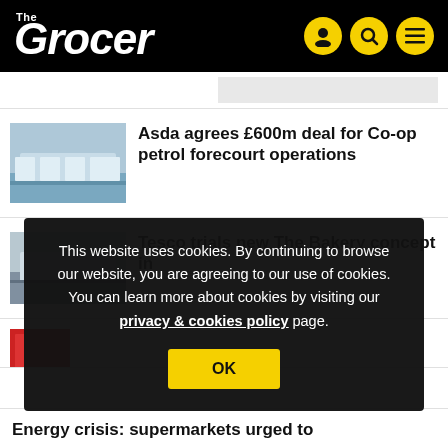The Grocer
[Figure (photo): Asda petrol forecourt thumbnail image]
Asda agrees £600m deal for Co-op petrol forecourt operations
[Figure (photo): Tesco bakery store thumbnail image]
Tesco trials new The Bakery concept in
This website uses cookies. By continuing to browse our website, you are agreeing to our use of cookies. You can learn more about cookies by visiting our privacy & cookies policy page.
Energy crisis: supermarkets urged to